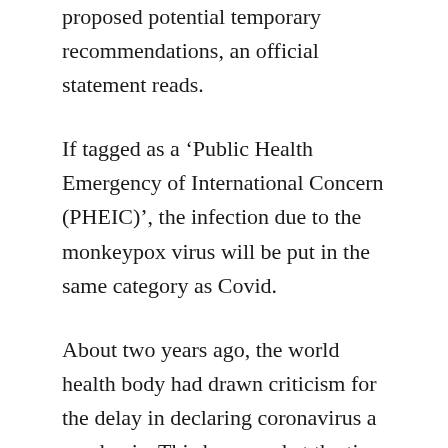proposed potential temporary recommendations, an official statement reads.
If tagged as a ‘Public Health Emergency of International Concern (PHEIC)’, the infection due to the monkeypox virus will be put in the same category as Covid.
About two years ago, the world health body had drawn criticism for the delay in declaring coronavirus a pandemic. This happened at the time Ebola outbreak too. The Democratic Republic of the Congo, now experiencing the second largest Ebola outbreak in recorded history, notified WHO of the outbreak on Aug 1, 2018, but WHO required four